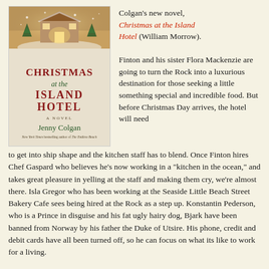[Figure (illustration): Book cover of 'Christmas at the Island Hotel' by Jenny Colgan, showing a cozy building in winter with warm lights, snow, and festive greenery. Title in red and green text, author name in green.]
Colgan's new novel, Christmas at the Island Hotel (William Morrow).

Finton and his sister Flora Mackenzie are going to turn the Rock into a luxurious destination for those seeking a little something special and incredible food. But before Christmas Day arrives, the hotel will need to get into ship shape and the kitchen staff has to blend. Once Finton hires Chef Gaspard who believes he's now working in a "kitchen in the ocean," and takes great pleasure in yelling at the staff and making them cry, we're almost there. Isla Gregor who has been working at the Seaside Little Beach Street Bakery Cafe sees being hired at the Rock as a step up. Konstantin Pederson, who is a Prince in disguise and his fat ugly hairy dog, Bjark have been banned from Norway by his father the Duke of Utsire. His phone, credit and debit cards have all been turned off, so he can focus on what its like to work for a living.